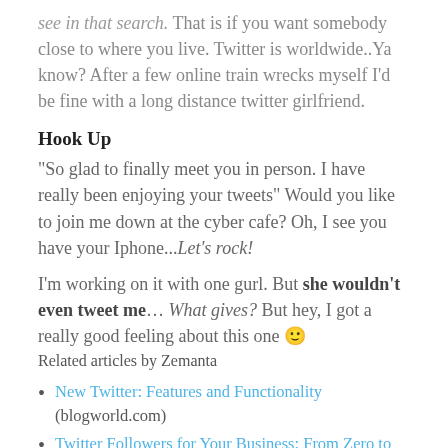see in that search. That is if you want somebody close to where you live. Twitter is worldwide..Ya know? After a few online train wrecks myself I'd be fine with a long distance twitter girlfriend.
Hook Up
“So glad to finally meet you in person. I have really been enjoying your tweets” Would you like to join me down at the cyber cafe? Oh, I see you have your Iphone...Let’s rock!
I’m working on it with one gurl. But she wouldn’t even tweet me... What gives? But hey, I got a really good feeling about this one 🙂
Related articles by Zemanta
New Twitter: Features and Functionality (blogworld.com)
Twitter Followers for Your Business: From Zero to Hero (socialmediatoday.com)